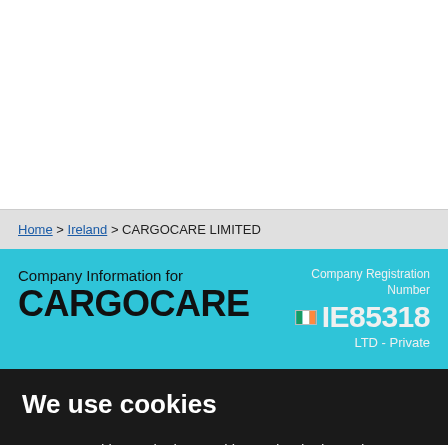Home > Ireland > CARGOCARE LIMITED
Company Information for CARGOCARE
Company Registration Number IE85318 LTD - Private
We use cookies
We use cookies and other tracking technologies to improve your browsing experience on our website, to show you personalized content and targeted ads, to analyze our website traffic, and